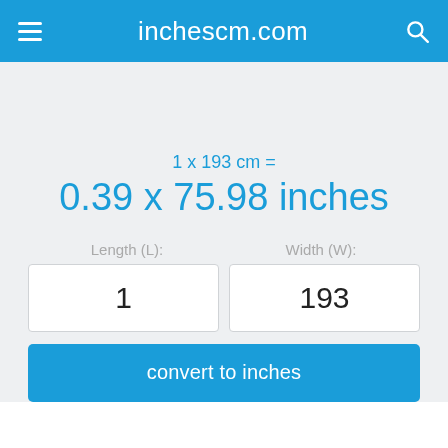inchescm.com
1 x 193 cm =
0.39 x 75.98 inches
Length (L):
Width (W):
1
193
convert to inches